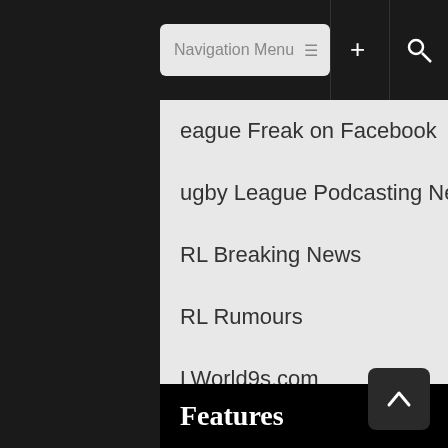Navigation Menu
eague Freak on Facebook
ugby League Podcasting Network
RL Breaking News
RL Rumours
LWorld9s.com
Facebook Pages
RL Gossip
RL Infinite
Features